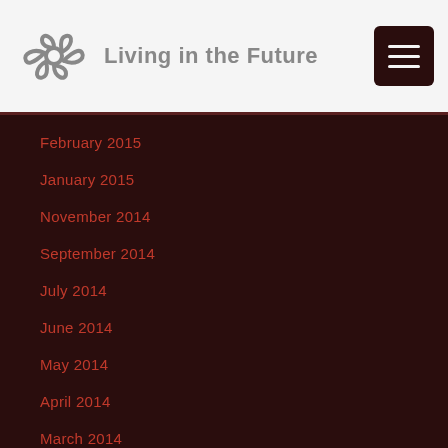Living in the Future
February 2015
January 2015
November 2014
September 2014
July 2014
June 2014
May 2014
April 2014
March 2014
February 2014
January 2014
December 2013
November 2013